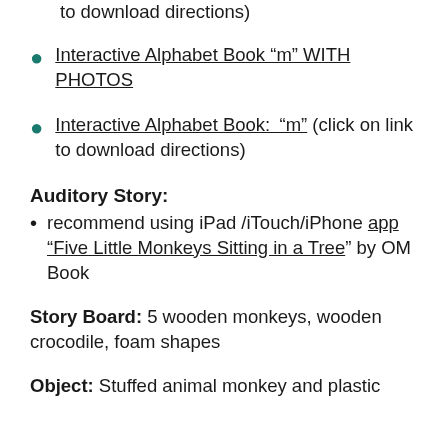to download directions)
Interactive Alphabet Book “m” WITH PHOTOS
Interactive Alphabet Book: “m” (click on link to download directions)
Auditory Story:
recommend using iPad /iTouch/iPhone app “Five Little Monkeys Sitting in a Tree” by OM Book
Story Board: 5 wooden monkeys, wooden crocodile, foam shapes
Object: Stuffed animal monkey and plastic